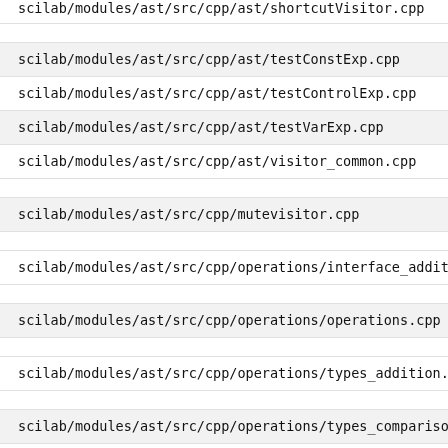scilab/modules/ast/src/cpp/ast/shortcutVisitor.cpp
scilab/modules/ast/src/cpp/ast/testConstExp.cpp
scilab/modules/ast/src/cpp/ast/testControlExp.cpp
scilab/modules/ast/src/cpp/ast/testVarExp.cpp
scilab/modules/ast/src/cpp/ast/visitor_common.cpp
scilab/modules/ast/src/cpp/mutevisitor.cpp
scilab/modules/ast/src/cpp/operations/interface_addition.cpp
scilab/modules/ast/src/cpp/operations/operations.cpp
scilab/modules/ast/src/cpp/operations/types_addition.cpp
scilab/modules/ast/src/cpp/operations/types_comparison_eq.
scilab/modules/ast/src/cpp/operations/types_comparison_lt_